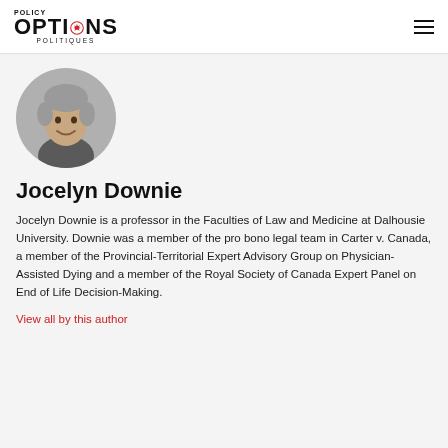POLICY OPTIONS POLITIQUES
[Figure (photo): Circular profile photo of Jocelyn Downie, a woman with short grey hair, smiling, wearing a grey turtleneck]
Jocelyn Downie
Jocelyn Downie is a professor in the Faculties of Law and Medicine at Dalhousie University. Downie was a member of the pro bono legal team in Carter v. Canada, a member of the Provincial-Territorial Expert Advisory Group on Physician-Assisted Dying and a member of the Royal Society of Canada Expert Panel on End of Life Decision-Making.
View all by this author